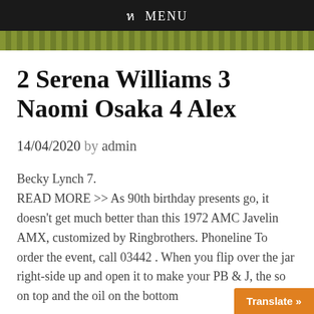ห MENU
[Figure (photo): Decorative hero image strip with foliage/green background]
2 Serena Williams 3 Naomi Osaka 4 Alex
14/04/2020 by admin
Becky Lynch 7.
READ MORE >> As 90th birthday presents go, it doesn't get much better than this 1972 AMC Javelin AMX, customized by Ringbrothers. Phoneline To order the event, call 03442 . When you flip over the jar right-side up and open it to make your PB & J, the so on top and the oil on the bottom